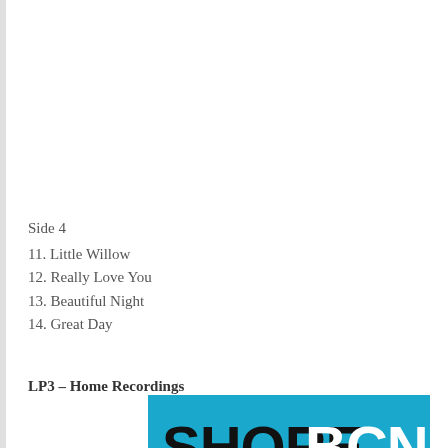Side 4
11. Little Willow
12. Really Love You
13. Beautiful Night
14. Great Day
LP3 – Home Recordings
[Figure (logo): SHORE BCN logo: cyan/blue background with SHORE in black bold and BCN in white bold, wave decoration underline on left, horizontal bar on right]